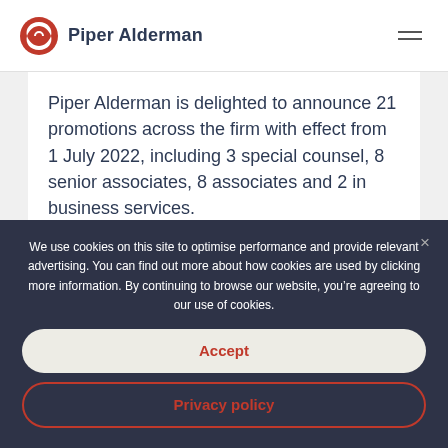Piper Alderman
Piper Alderman is delighted to announce 21 promotions across the firm with effect from 1 July 2022, including 3 special counsel, 8 senior associates, 8 associates and 2 in business services.
We use cookies on this site to optimise performance and provide relevant advertising. You can find out more about how cookies are used by clicking more information. By continuing to browse our website, you’re agreeing to our use of cookies.
Accept
Privacy policy